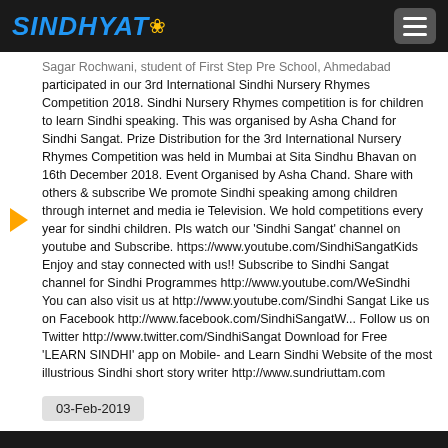SINDHYAT
Sagar Rochwani, student of First Step Pre School, Ahmedabad participated in our 3rd International Sindhi Nursery Rhymes Competition 2018. Sindhi Nursery Rhymes competition is for children to learn Sindhi speaking. This was organised by Asha Chand for Sindhi Sangat. Prize Distribution for the 3rd International Nursery Rhymes Competition was held in Mumbai at Sita Sindhu Bhavan on 16th December 2018. Event Organised by Asha Chand. Share with others & subscribe We promote Sindhi speaking among children through internet and media ie Television. We hold competitions every year for sindhi children. Pls watch our 'Sindhi Sangat' channel on youtube and Subscribe. https://www.youtube.com/SindhiSangatKids Enjoy and stay connected with us!! Subscribe to Sindhi Sangat channel for Sindhi Programmes http://www.youtube.com/WeSindhi You can also visit us at http://www.youtube.com/Sindhi Sangat Like us on Facebook http://www.facebook.com/SindhiSangatW... Follow us on Twitter http://www.twitter.com/SindhiSangat Download for Free 'LEARN SINDHI' app on Mobile- and Learn Sindhi Website of the most illustrious Sindhi short story writer http://www.sundriuttam.com
03-Feb-2019